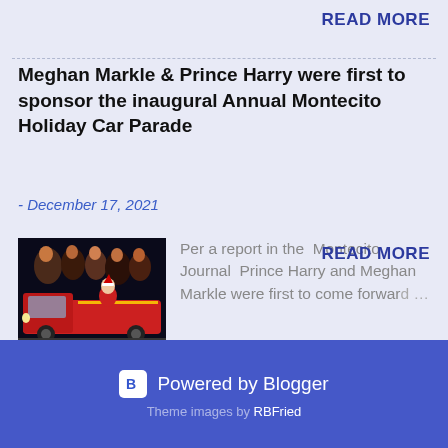READ MORE
Meghan Markle & Prince Harry were first to sponsor the inaugural Annual Montecito Holiday Car Parade
- December 17, 2021
[Figure (photo): People riding on a red fire truck or parade float at night, decorated with Christmas/holiday figures]
Per a report in the  Montecito Journal  Prince Harry and Meghan Markle were first to come forward …
READ MORE
Powered by Blogger
Theme images by RBFried